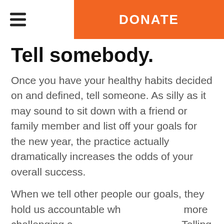DONATE
Tell somebody.
Once you have your healthy habits decided on and defined, tell someone. As silly as it may sound to sit down with a friend or family member and list off your goals for the new year, the practice actually dramatically increases the odds of your overall success.
When we tell other people our goals, they hold us accountable wh... more challenging a... Telling others the ha... gives us a support system, encouragement
[Figure (other): Donation Pickup button with truck icon, rounded rectangle in dark blue/slate color]